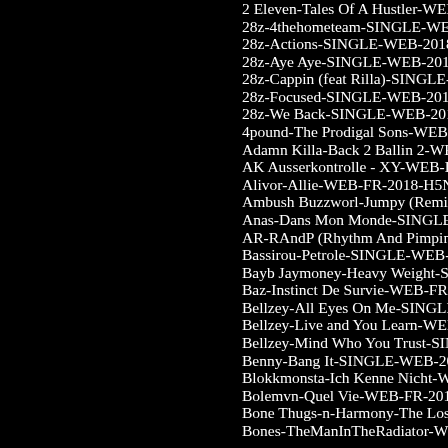2 Eleven-Tales Of A Hustler-WEB-2017-ESG IN
28z-4thehometeam-SINGLE-WEB-2018-ENRAG
28z-Actions-SINGLE-WEB-2018-ENRAGED
28z-Aye Aye-SINGLE-WEB-2018-ENRAGED
28z-Cappin (feat Rilla)-SINGLE-WEB-2018-EN
28z-Focused-SINGLE-WEB-2018-ENRAGED
28z-We Back-SINGLE-WEB-2018-ENRAGED
4pound-The Prodigal Sons-WEB-2018-ENRAGE
Adamn Killa-Back 2 Ballin 2-WEB-2018-ENRA
AK Ausserkontrolle - XY-WEB-DE-2018-KNOV
Alivor-Allie-WEB-FR-2018-H5N1
Ambush Buzzworl-Jumpy (Remix)-SINGLE-WE
Anas-Dans Mon Monde-SINGLE-WEB-FR-2018
AR-RAndP (Rhythm And Pimpin)-WEB-2018-E
Bassirou-Petrole-SINGLE-WEB-FR-2018-OND
Bayb Jaymoney-Heavy Weight-SINGLE-WEB-2
Baz-Instinct De Survie-WEB-FR-2018-OND
Bellzey-All Eyes On Me-SINGLE-WEB-2018-A
Bellzey-Live and You Learn-WEB-2018-AZF
Bellzey-Mind Who You Trust-SINGLE-WEB-20
Benny-Bang It-SINGLE-WEB-2018-ENRAGED
Blokkmonsta-Ich Kenne Nicht-WEB-DE-2018-V
Bolemvn-Quel Vie-WEB-FR-2018-AZF
Bone Thugs-n-Harmony-The Lost Files-WEB-20
Bones-TheManInTheRadiator-WEB-2018-ENRA